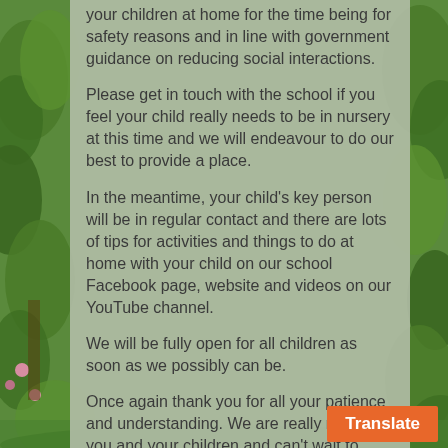your children at home for the time being for safety reasons and in line with government guidance on reducing social interactions.
Please get in touch with the school if you feel your child really needs to be in nursery at this time and we will endeavour to do our best to provide a place.
In the meantime, your child's key person will be in regular contact and there are lots of tips for activities and things to do at home with your child on our school Facebook page, website and videos on our YouTube channel.
We will be fully open for all children as soon as we possibly can be.
Once again thank you for all your patience and understanding. We are really missing you and your children and can't wait to have you all back